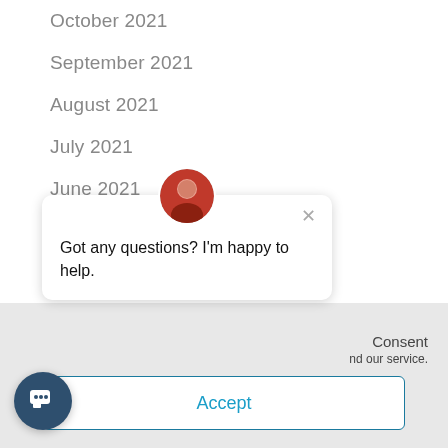October 2021
September 2021
August 2021
July 2021
June 2021
May 2021
April 2021
March 2021
February 202...
Got any questions? I'm happy to help.
Consent
nd our service.
Accept